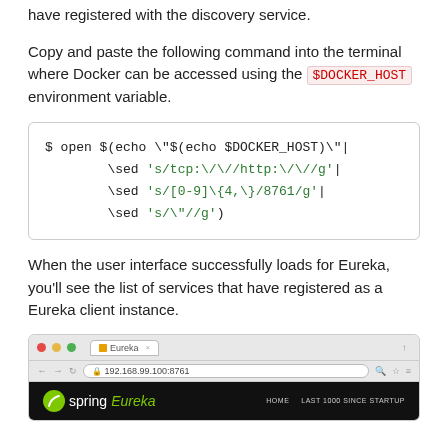have registered with the discovery service.
Copy and paste the following command into the terminal where Docker can be accessed using the $DOCKER_HOST environment variable.
$ open $(echo \"$(echo $DOCKER_HOST)\"|\n        \sed 's/tcp:\/\//http:\/\//g'|\n        \sed 's/[0-9]\{4,\}/8761/g'|\n        \sed 's/\"//g')
When the user interface successfully loads for Eureka, you'll see the list of services that have registered as a Eureka client instance.
[Figure (screenshot): Browser screenshot showing the Spring Eureka web UI at 192.168.99.100:8761 with navigation links HOME and LAST 1000 SINCE STARTUP]